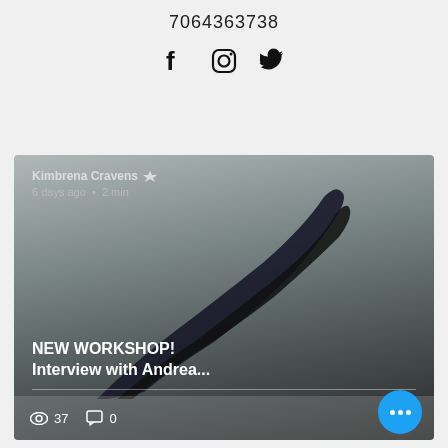7064363738
[Figure (illustration): Social media icons: Facebook (f), Instagram (camera), Twitter (bird)]
[Figure (photo): Blog post card showing a dancer's arm silhouette on gray background, with post by Kimbrena Cravens, 6 days ago, 2 min read, titled NEW WORKSHOP! Interview with Andrea..., 37 views, 0 comments]